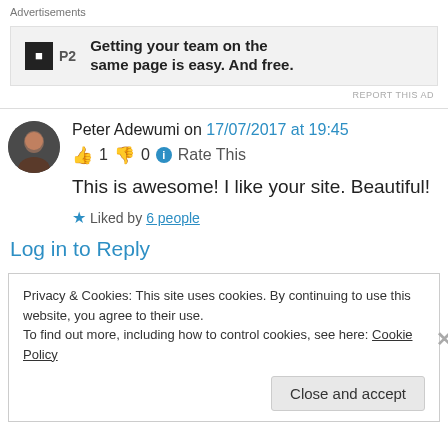Advertisements
[Figure (infographic): P2 advertisement banner: logo with 'P2' text and tagline 'Getting your team on the same page is easy. And free.']
REPORT THIS AD
Peter Adewumi on 17/07/2017 at 19:45
👍 1 👎 0 ℹ Rate This
This is awesome! I like your site. Beautiful!
★ Liked by 6 people
Log in to Reply
Privacy & Cookies: This site uses cookies. By continuing to use this website, you agree to their use.
To find out more, including how to control cookies, see here: Cookie Policy
Close and accept